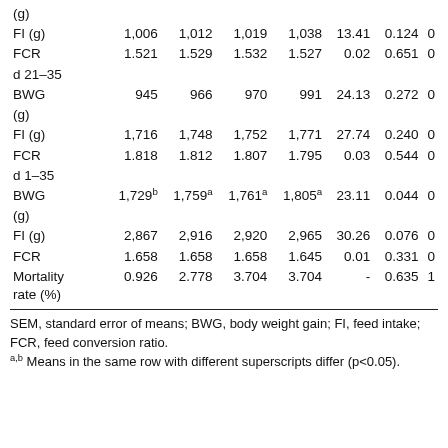|  |  |  |  |  | SEM | P-value |  |
| --- | --- | --- | --- | --- | --- | --- | --- |
| (g) |  |  |  |  |  |  |  |
| FI (g) | 1,006 | 1,012 | 1,019 | 1,038 | 13.41 | 0.124 | 0 |
| FCR | 1.521 | 1.529 | 1.532 | 1.527 | 0.02 | 0.651 | 0 |
| d 21–35 |  |  |  |  |  |  |  |
| BWG (g) | 945 | 966 | 970 | 991 | 24.13 | 0.272 | 0 |
| FI (g) | 1,716 | 1,748 | 1,752 | 1,771 | 27.74 | 0.240 | 0 |
| FCR | 1.818 | 1.812 | 1.807 | 1.795 | 0.03 | 0.544 | 0 |
| d 1–35 |  |  |  |  |  |  |  |
| BWG (g) | 1,729b | 1,759a | 1,761a | 1,805a | 23.11 | 0.044 | 0 |
| FI (g) | 2,867 | 2,916 | 2,920 | 2,965 | 30.26 | 0.076 | 0 |
| FCR | 1.658 | 1.658 | 1.658 | 1.645 | 0.01 | 0.331 | 0 |
| Mortality rate (%) | 0.926 | 2.778 | 3.704 | 3.704 | - | 0.635 | 1 |
SEM, standard error of means; BWG, body weight gain; FI, feed intake; FCR, feed conversion ratio. a,b Means in the same row with different superscripts differ (p<0.05).